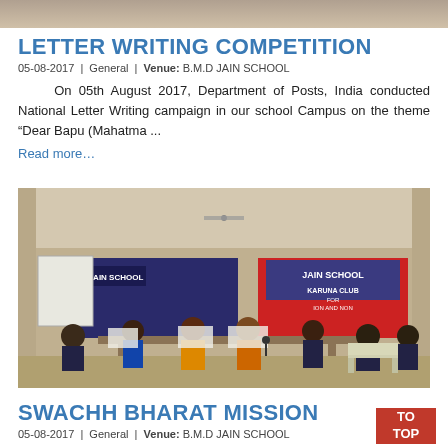[Figure (photo): Top portion of a photo visible at top of page (cropped)]
LETTER WRITING COMPETITION
05-08-2017 | General | Venue: B.M.D JAIN SCHOOL
On 05th August 2017, Department of Posts, India conducted National Letter Writing campaign in our school Campus on the theme “Dear Bapu (Mahatma ...
Read more…
[Figure (photo): Photo of students and teachers seated at tables during letter writing competition at B.M.D Jain School. Banners visible including Jain School and Karuna Club.]
SWACHH BHARAT MISSION
05-08-2017 | General | Venue: B.M.D JAIN SCHOOL
TO TOP